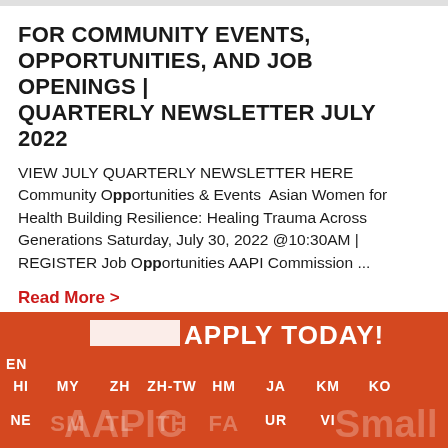FOR COMMUNITY EVENTS, OPPORTUNITIES, AND JOB OPENINGS | QUARTERLY NEWSLETTER JULY 2022
VIEW JULY QUARTERLY NEWSLETTER HERE Community Opportunities & Events  Asian Women for Health Building Resilience: Healing Trauma Across Generations Saturday, July 30, 2022 @10:30AM | REGISTER Job Opportunities AAPI Commission ...
Read More >
[Figure (infographic): Orange/red banner advertisement reading 'APPLY TODAY!' with language selector codes: EN, HI, MY, ZH, ZH-TW, HM, JA, KM, KO, NE, SM, TL, TH, FA, UR, VI and partial text 'AAPICSmall']